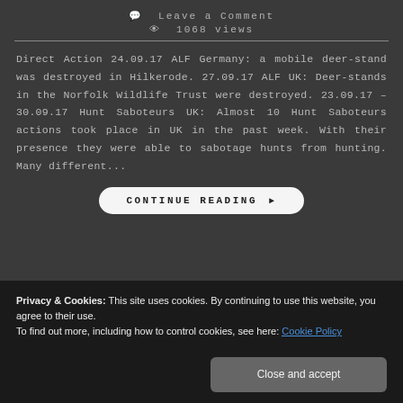Leave a Comment
1068 views
Direct Action 24.09.17 ALF Germany: a mobile deer-stand was destroyed in Hilkerode. 27.09.17 ALF UK: Deer-stands in the Norfolk Wildlife Trust were destroyed. 23.09.17 – 30.09.17 Hunt Saboteurs UK: Almost 10 Hunt Saboteurs actions took place in UK in the past week. With their presence they were able to sabotage hunts from hunting. Many different...
CONTINUE READING ▸
Privacy & Cookies: This site uses cookies. By continuing to use this website, you agree to their use.
To find out more, including how to control cookies, see here: Cookie Policy
Close and accept